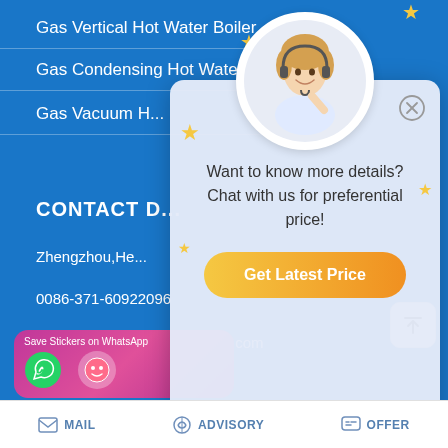Gas Vertical Hot Water Boiler
Gas Condensing Hot Water B...
Gas Vacuum H...
CONTACT D...
Zhengzhou,He...
0086-371-60922096
quotation@boilermanufactory.com
[Figure (screenshot): Chat popup with customer service avatar, stars, message 'Want to know more details? Chat with us for preferential price!' and orange 'Get Latest Price' button]
[Figure (infographic): WhatsApp/messaging app sticker save banner with phone and emoji icons on pink-purple gradient background]
MAIL   ADVISORY   OFFER